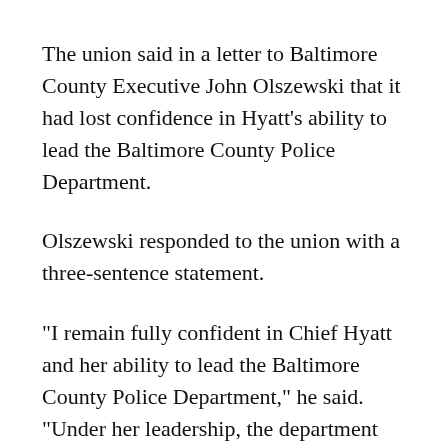The union said in a letter to Baltimore County Executive John Olszewski that it had lost confidence in Hyatt's ability to lead the Baltimore County Police Department.
Olszewski responded to the union with a three-sentence statement.
"I remain fully confident in Chief Hyatt and her ability to lead the Baltimore County Police Department," he said. "Under her leadership, the department has shifted to a more data-driven, community focused model of policing. Violent crime declined by 16 percent last year and homicides are down more than 50 percent so far this year."
Prior to the question, someone said his opinion said